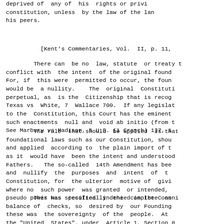deprived of  any of  his  rights or privileges under the constitution, unless  by the law of the land or the judgment of his peers.
[Kent's Commentaries, Vol.  II, p. 11,
There can  be no  law, statute  or treaty that is in conflict with  the intent  of the original founding fathers. For, if  this were  permitted to occur, the founding document would be  a nullity.    The  original  Constitution  is perpetual, as  is the  Citizenship that is recognized in Texas vs  White, 7  Wallace 700.  If any legislation is repugnant to the  Constitution, this Court has the eminent  authority to declare such enactments  null and  void ab initio (from the beginning). See Marbury vs Madison, 5 U.S. (1 Cranch) 137, 17
The rule  that should  be applied  is that  all foundational laws such as our Constitution, should be  construed and applied  according to  the plain import of the language, as it  would have  been the intent and understood by the Founding Fathers.   The so-called  14th Amendment has been used to alter and  nullify  the  purposes  and  intent  of  the  original Constitution, for  the ulterior  motive of  giving the  Federal where no  such power  was granted  or intended,  and  where  this pseudo power was specifically denied in the Constitution.
This has  resulted  in the  complete  annihilation of the balance of  checks, so  desired by  our Founding  Fathers.  One of these was  the sovereignty  of the  people.  At the  creation of the "United  States", under  Article 1, Section 8